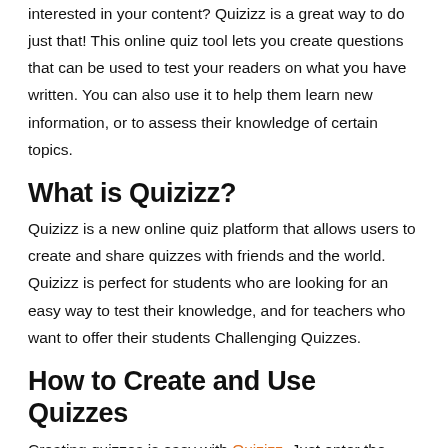interested in your content? Quizizz is a great way to do just that! This online quiz tool lets you create questions that can be used to test your readers on what you have written. You can also use it to help them learn new information, or to assess their knowledge of certain topics.
What is Quizizz?
Quizizz is a new online quiz platform that allows users to create and share quizzes with friends and the world. Quizizz is perfect for students who are looking for an easy way to test their knowledge, and for teachers who want to offer their students Challenging Quizzes.
How to Create and Use Quizzes
Creating quizzes is easy with Quizizz. Just enter the questions and answers into the Quizizz interface, and you're ready to go!